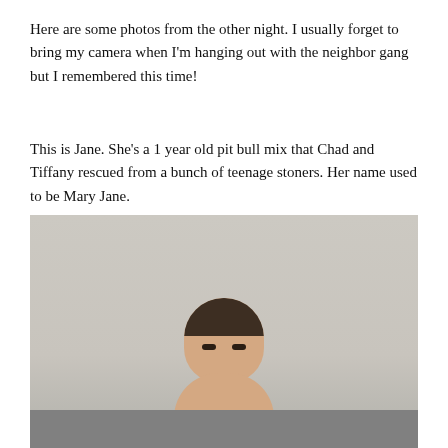Here are some photos from the other night. I usually forget to bring my camera when I'm hanging out with the neighbor gang but I remembered this time!
This is Jane. She's a 1 year old pit bull mix that Chad and Tiffany rescued from a bunch of teenage stoners. Her name used to be Mary Jane.
[Figure (photo): A young child with short dark hair looking downward, seated on a gray couch, photographed against a light gray/beige background.]